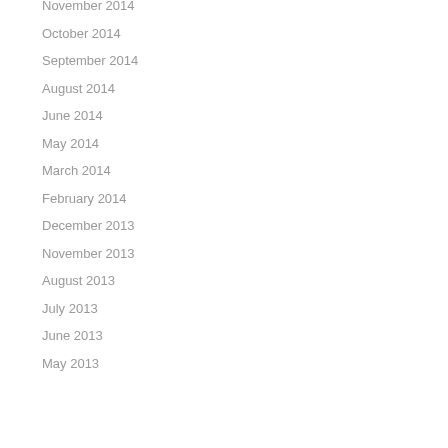November 2014
October 2014
September 2014
August 2014
June 2014
May 2014
March 2014
February 2014
December 2013
November 2013
August 2013
July 2013
June 2013
May 2013